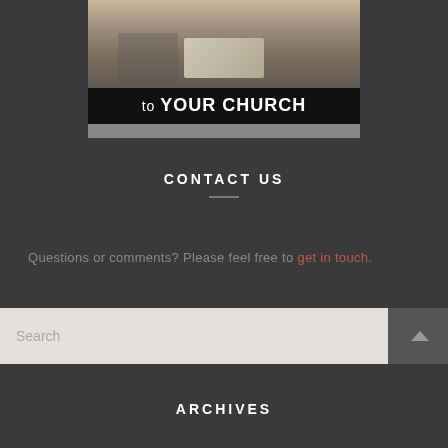[Figure (photo): Black and white photo of a person in traditional Chinese clothing holding an open book, with text overlay at bottom reading 'to YOUR CHURCH']
CONTACT US
Questions or comments? Please feel free to get in touch.
[Figure (other): Search bar with search input field and search button icon]
ARCHIVES